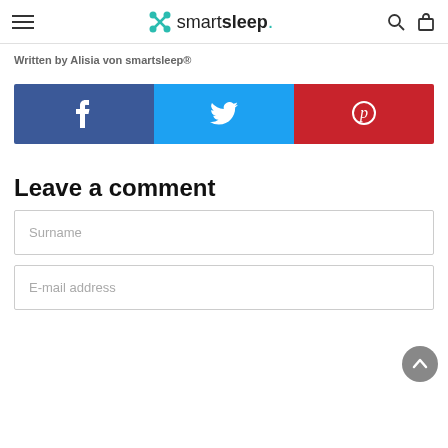smartsleep — navigation header with menu, logo, search, and cart icons
Written by Alisia von smartsleep®
[Figure (infographic): Social share buttons row: Facebook (blue), Twitter (light blue), Pinterest (red) with respective icons]
Leave a comment
Surname — form field placeholder
E-mail address — form field placeholder